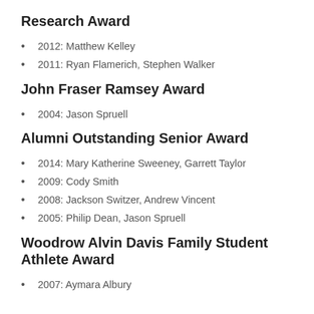Research Award
2012: Matthew Kelley
2011: Ryan Flamerich, Stephen Walker
John Fraser Ramsey Award
2004: Jason Spruell
Alumni Outstanding Senior Award
2014: Mary Katherine Sweeney, Garrett Taylor
2009: Cody Smith
2008: Jackson Switzer, Andrew Vincent
2005: Philip Dean, Jason Spruell
Woodrow Alvin Davis Family Student Athlete Award
2007: Aymara Albury